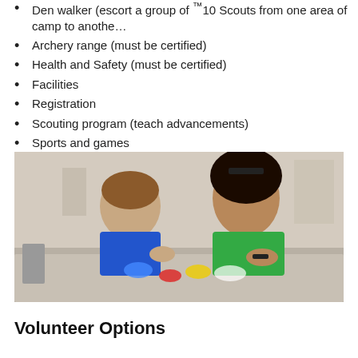Den walker (escort a group of ™10 Scouts from one area of camp to another)
Archery range (must be certified)
Health and Safety (must be certified)
Facilities
Registration
Scouting program (teach advancements)
Sports and games
Tot lot (preschool program)
Key staff
[Figure (photo): A woman in a green shirt helping a young boy in a blue shirt with a craft activity at a table, with colorful clay or similar materials on the table surface.]
Volunteer Options